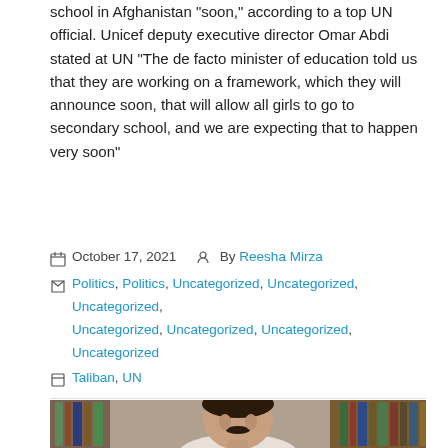school in Afghanistan "soon," according to a top UN official. Unicef deputy executive director Omar Abdi stated at UN "The de facto minister of education told us that they are working on a framework, which they will announce soon, that will allow all girls to go to secondary school, and we are expecting that to happen very soon"
October 17, 2021  By Reesha Mirza
Politics, Politics, Uncategorized, Uncategorized, Uncategorized, Uncategorized, Uncategorized, Uncategorized, Uncategorized
Taliban, UN
READ MORE....
[Figure (photo): Portrait photo of a middle-aged man with dark hair and mustache, wearing a white shirt, with bookshelves visible in the background]